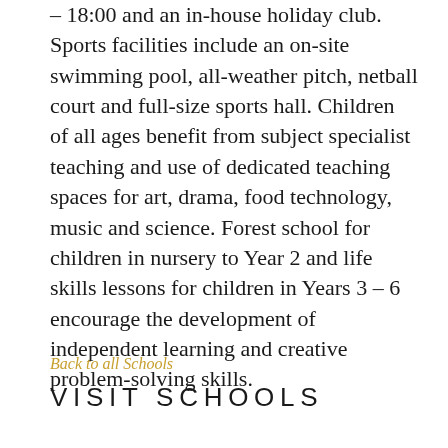– 18:00 and an in-house holiday club. Sports facilities include an on-site swimming pool, all-weather pitch, netball court and full-size sports hall. Children of all ages benefit from subject specialist teaching and use of dedicated teaching spaces for art, drama, food technology, music and science. Forest school for children in nursery to Year 2 and life skills lessons for children in Years 3 – 6 encourage the development of independent learning and creative problem-solving skills.
Back to all Schools
VISIT SCHOOLS